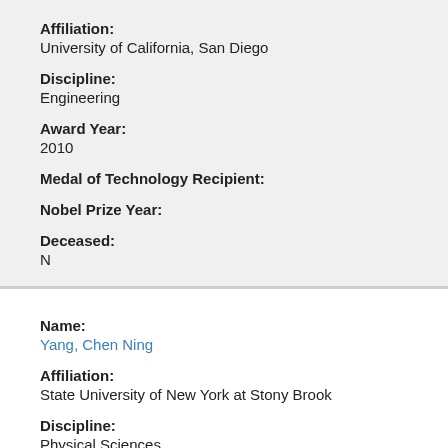Affiliation:
University of California, San Diego
Discipline:
Engineering
Award Year:
2010
Medal of Technology Recipient:
Nobel Prize Year:
Deceased:
N
Name:
Yang, Chen Ning
Affiliation:
State University of New York at Stony Brook
Discipline:
Physical Sciences